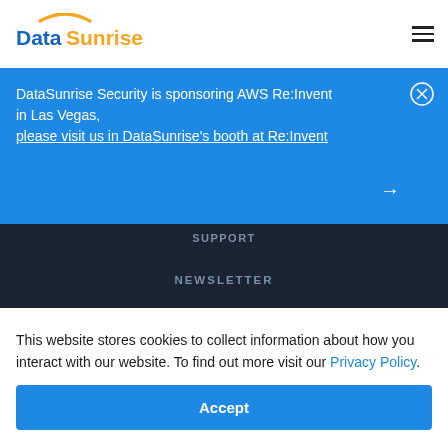[Figure (logo): DataSunrise logo with orange arc above text]
DataSunrise Security is sponsoring AWS Re:Invent in Las Vegas, please visit us in DataSunrise's booth at Re:Invent
SUPPORT
NEWSLETTER
This website stores cookies to collect information about how you interact with our website. To find out more visit our Privacy Policy.
Accept